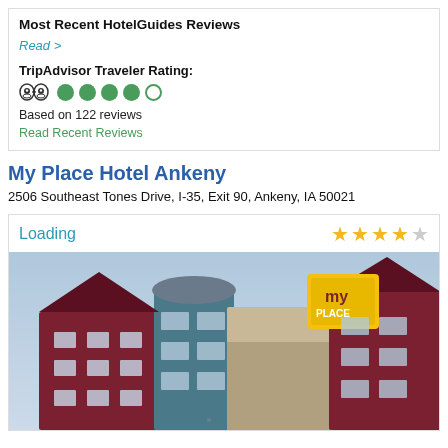Most Recent HotelGuides Reviews
Read >
TripAdvisor Traveler Rating:
Based on 122 reviews
Read Recent Reviews
My Place Hotel Ankeny
2506 Southeast Tones Drive, I-35, Exit 90, Ankeny, IA 50021
Loading
[Figure (photo): Exterior photo of My Place Hotel Ankeny, a multi-story building with dark red/maroon, teal, and beige/stone exterior, with a yellow My Place logo sign on the upper portion, under a light blue sky.]